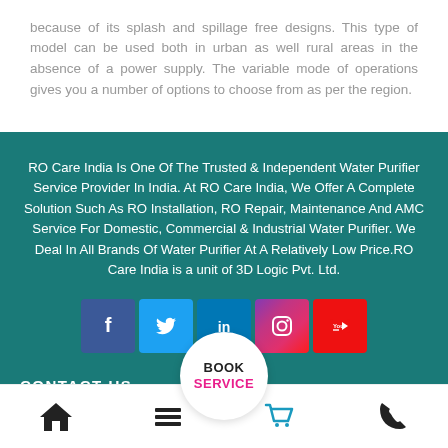because of its splash and spillage free designs. This type of model can be used both in urban as well rural areas in the absence of a power supply. The variable mode of operations gives you a number of options to choose from as per the region.
RO Care India Is One Of The Trusted & Independent Water Purifier Service Provider In India. At RO Care India, We Offer A Complete Solution Such As RO Installation, RO Repair, Maintenance And AMC Service For Domestic, Commercial & Industrial Water Purifier. We Deal In All Brands Of Water Purifier At A Relatively Low Price.RO Care India is a unit of 3D Logic Pvt. Ltd.
[Figure (other): Social media icons row: Facebook, Twitter, LinkedIn, Instagram, YouTube]
CONTACT US
[Figure (other): Bottom navigation bar with home, menu, book service circle button, cart, and phone icons]